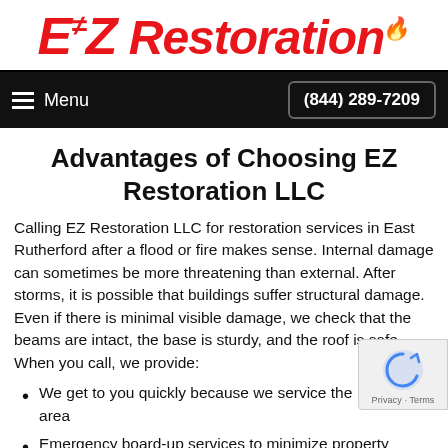EZ Restoration
Menu  (844) 289-7209
Advantages of Choosing EZ Restoration LLC
Calling EZ Restoration LLC for restoration services in East Rutherford after a flood or fire makes sense. Internal damage can sometimes be more threatening than external. After storms, it is possible that buildings suffer structural damage. Even if there is minimal visible damage, we check that the beams are intact, the base is sturdy, and the roof is safe. When you call, we provide:
We get to you quickly because we service the Rutherford area
Emergency board-up services to minimize property